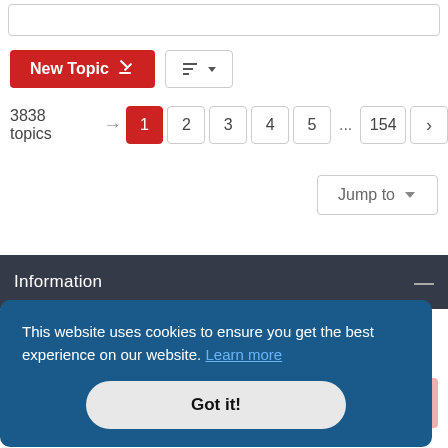New Topic
3838 topics  1 2 3 4 5 ... 154 >
Jump to
Information
This website uses cookies to ensure you get the best experience on our website. Learn more
Got it!
You cannot post attachments in this forum